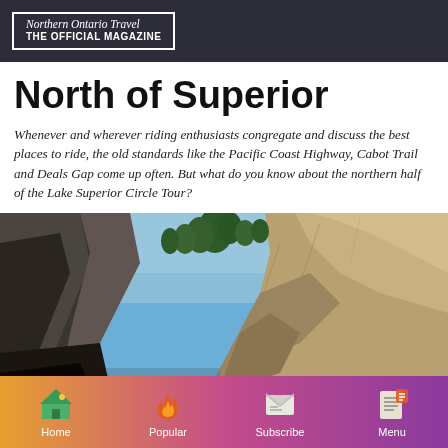Northern Ontario Travel THE OFFICIAL MAGAZINE
North of Superior
Whenever and wherever riding enthusiasts congregate and discuss the best places to ride, the old standards like the Pacific Coast Highway, Cabot Trail and Deals Gap come up often. But what do you know about the northern half of the Lake Superior Circle Tour?
[Figure (photo): Rocky cliff face with sparse trees against a blue sky, photographed from below looking up]
Home  Popular  Subscribe  Menu